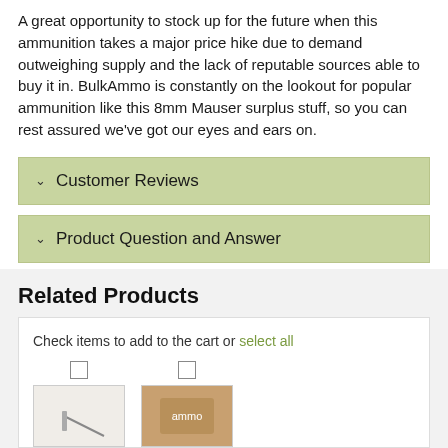A great opportunity to stock up for the future when this ammunition takes a major price hike due to demand outweighing supply and the lack of reputable sources able to buy it in. BulkAmmo is constantly on the lookout for popular ammunition like this 8mm Mauser surplus stuff, so you can rest assured we've got our eyes and ears on.
Customer Reviews
Product Question and Answer
Related Products
Check items to add to the cart or select all
[Figure (photo): Two product thumbnail images with checkboxes above them, partially visible at the bottom of the page.]